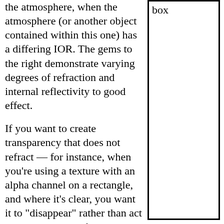the atmosphere, when the atmosphere (or another object contained within this one) has a differing IOR. The gems to the right demonstrate varying degrees of refraction and internal reflectivity to good effect.
If you want to create transparency that does not refract — for instance, when you're using a texture with an alpha channel on a rectangle, and where it's clear, you want it to "disappear" rather than act as a transparent substance — then just ensure that the IOR for the plane is the same as the IOR for the atmosphere and it'll
[Figure (other): A large empty box with the label 'box' in the upper left corner inside the border.]